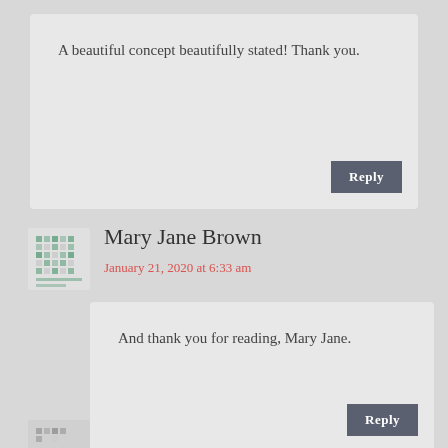A beautiful concept beautifully stated! Thank you.
Reply
Mary Jane Brown
January 21, 2020 at 6:33 am
And thank you for reading, Mary Jane.
Reply